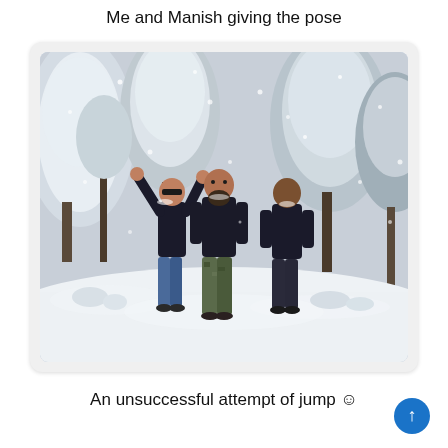Me and Manish giving the pose
[Figure (photo): Three men posing outdoors in a snowy landscape with snow-covered trees behind them. They are wearing dark jackets and appear to be jumping or posing energetically. Heavy snowfall visible.]
An unsuccessful attempt of jump ☺